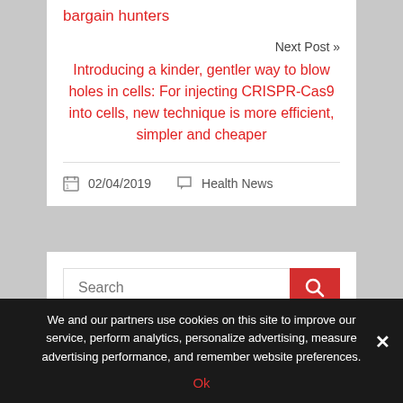bargain hunters
Next Post »
Introducing a kinder, gentler way to blow holes in cells: For injecting CRISPR-Cas9 into cells, new technique is more efficient, simpler and cheaper
02/04/2019   Health News
Search
We and our partners use cookies on this site to improve our service, perform analytics, personalize advertising, measure advertising performance, and remember website preferences.
Ok